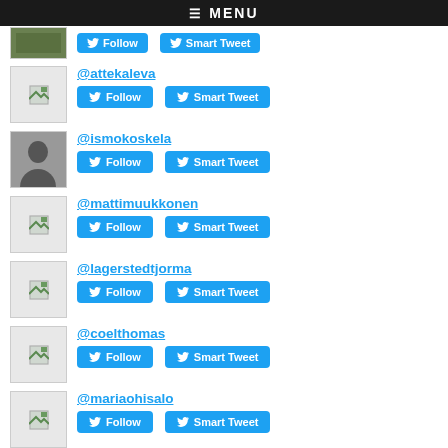≡ MENU
@attekaleva
@ismokoskela
@mattimuukkonen
@lagerstedtjorma
@coelthomas
@mariaohisalo
Top Replied-To in G4:
@turtiainenano